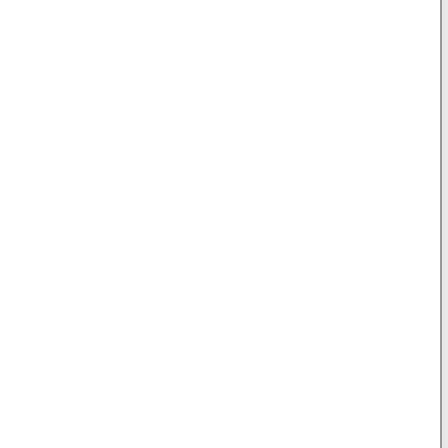Department will interpose no ob... unreasonable interference with n... escape of the dredged material in... authorize any injury to private p... laws or regulations. "Very respe...
Robert Shaw Oliver,
"Assistant Secretary of War." ...outside of low-water mark, and t...on the mainland. The action of th...plant, and pierced the beach at a...some years ago, two bulkheads w...encroachments of the ocean. Par...defendants claim is in the neighb...2 feet deep at high water, on an a...March 16, 1907; the bath houses...inlet at the present location occu...line of piling, and to reinforce th...across the inlet. At the time of dr...out to the section called the "Bay...defendants, the water in the bay ...sufficient capacity to allow the b...
The present action was brought b...